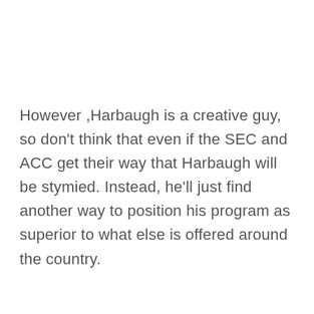However ,Harbaugh is a creative guy, so don't think that even if the SEC and ACC get their way that Harbaugh will be stymied. Instead, he'll just find another way to position his program as superior to what else is offered around the country.